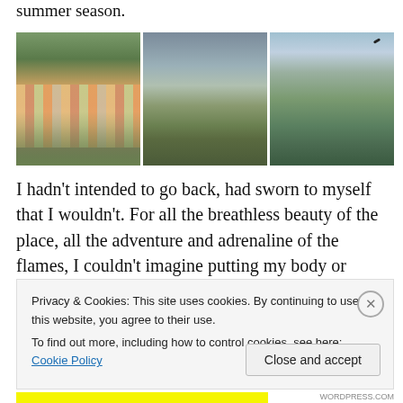summer season.
[Figure (photo): Three side-by-side landscape photographs: left shows a colorful hillside Italian coastal town with buildings, center shows a river delta or estuary with green marsh under cloudy sky, right shows a forested cliff or gorge with a bird in flight.]
I hadn't intended to go back, had sworn to myself that I wouldn't. For all the breathless beauty of the place, all the adventure and adrenaline of the flames, I couldn't imagine putting my body or fragile confidence back on the fireline. I
Privacy & Cookies: This site uses cookies. By continuing to use this website, you agree to their use.
To find out more, including how to control cookies, see here: Cookie Policy
Close and accept